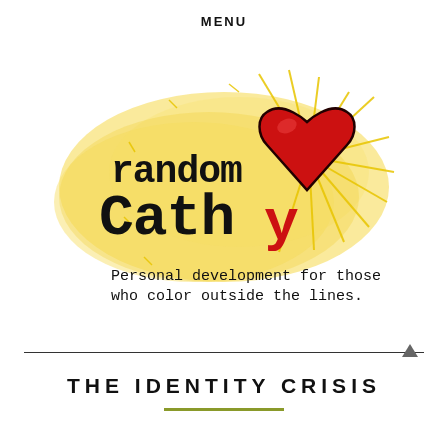MENU
[Figure (logo): Random Cathy logo: watercolor yellow cloud background with radiating yellow sunburst lines, bold typewriter-style text 'random Cathy' in black, large red heart shape replacing the 'y' area, tagline in typewriter font: 'Personal development for those who color outside the lines.']
THE IDENTITY CRISIS